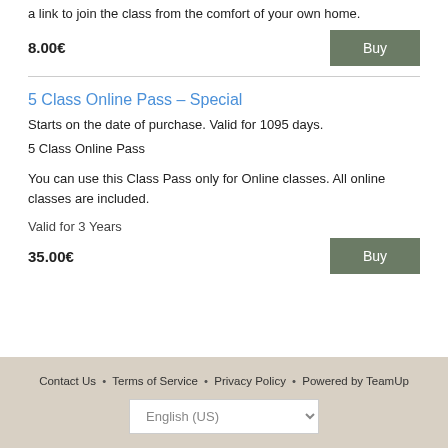a link to join the class from the comfort of your own home.
8.00€
Buy
5 Class Online Pass – Special
Starts on the date of purchase. Valid for 1095 days.
5 Class Online Pass
You can use this Class Pass only for Online classes. All online classes are included.
Valid for 3 Years
35.00€
Buy
Contact Us • Terms of Service • Privacy Policy • Powered by TeamUp